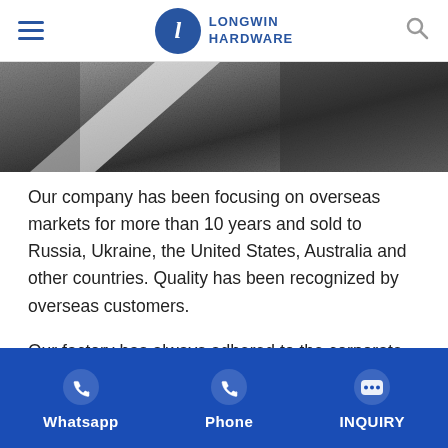Longwin Hardware
[Figure (photo): Close-up of a dark metallic/stone surface with a diagonal white streak or blade edge visible.]
Our company has been focusing on overseas markets for more than 10 years and sold to Russia, Ukraine, the United States, Australia and other countries. Quality has been recognized by overseas customers.
Our factory has always adhered to the corporate tenet of honesty, quality as the root, perfect service, and strict management, and has won the support and trust of
Whatsapp   Phone   INQUIRY